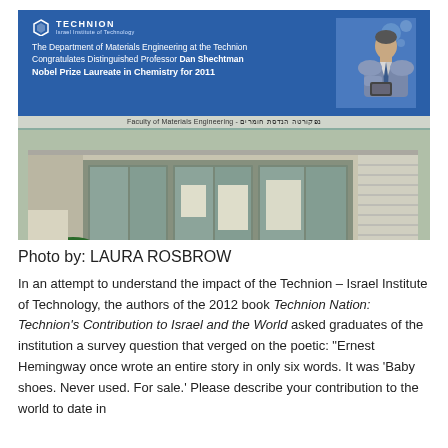[Figure (photo): Photo of the Technion Department of Materials Engineering building entrance, with a large blue banner congratulating Distinguished Professor Dan Shechtman, Nobel Prize Laureate in Chemistry for 2011. The banner shows the Technion logo and a photo of Professor Shechtman. Below the banner is the building entrance with glass doors and a sign reading 'Faculty of Materials Engineering - נפקורטה הנדסת חומרים'.]
Photo by: LAURA ROSBROW
In an attempt to understand the impact of the Technion – Israel Institute of Technology, the authors of the 2012 book Technion Nation: Technion's Contribution to Israel and the World asked graduates of the institution a survey question that verged on the poetic: "Ernest Hemingway once wrote an entire story in only six words. It was 'Baby shoes. Never used. For sale.' Please describe your contribution to the world to date in